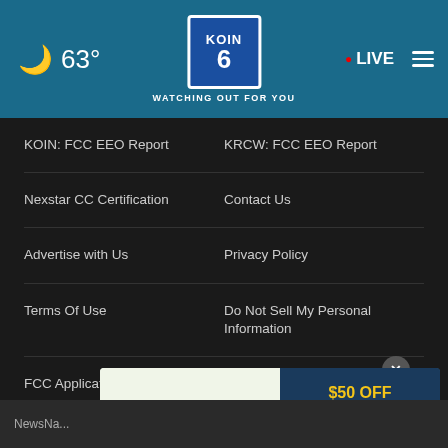63° KOIN 6 CBS WATCHING OUT FOR YOU · LIVE
KOIN: FCC EEO Report
KRCW: FCC EEO Report
Nexstar CC Certification
Contact Us
Advertise with Us
Privacy Policy
Terms Of Use
Do Not Sell My Personal Information
FCC Applications
Public File Assistance Contact
The Hill
[Figure (other): eco care pest control advertisement banner offering $50 OFF PEST CONTROL TREATMENT CLICK NOW]
NewsNa...